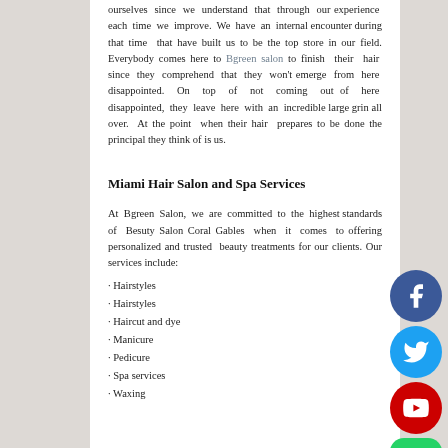ourselves since we understand that through our experience each time we improve. We have an internal encounter during that time that have built us to be the top store in our field. Everybody comes here to Bgreen salon to finish their hair since they comprehend that they won't emerge from here disappointed. On top of not coming out of here disappointed, they leave here with an incredible large grin all over. At the point when their hair prepares to be done the principal they think of is us.
Miami Hair Salon and Spa Services
At Bgreen Salon, we are committed to the highest standards of Besuty Salon Coral Gables when it comes to offering personalized and trusted beauty treatments for our clients. Our services include:
· Hairstyles
· Hairstyles
· Haircut and dye
· Manicure
· Pedicure
· Spa services
· Waxing